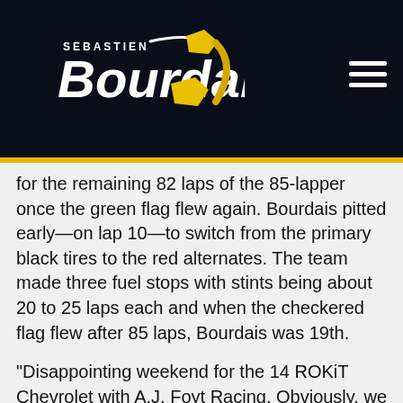Sebastien Bourdais
for the remaining 82 laps of the 85-lapper once the green flag flew again. Bourdais pitted early—on lap 10—to switch from the primary black tires to the red alternates. The team made three fuel stops with stints being about 20 to 25 laps each and when the checkered flag flew after 85 laps, Bourdais was 19th.
“Disappointing weekend for the 14 ROKiT Chevrolet with A.J. Foyt Racing. Obviously, we didn’t have the qualifying that we wanted. Started twentieth, on top of it, got bottled up at the start, picked the outside and that’s where all the chaos ended up so lost a bunch of positions. Pace wasn’t great but it wasn’t really bad during the race. Then at the end we were fighting for 15, 16, 17 something around there and